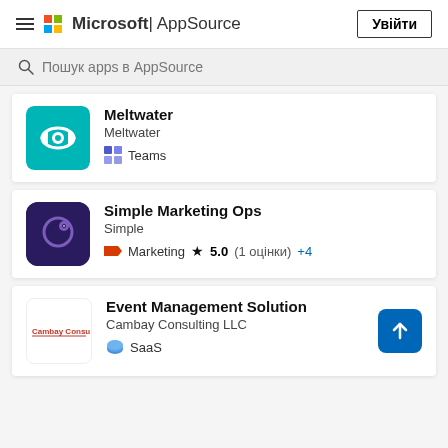Microsoft | AppSource — Увійти
Пошук apps в AppSource
[Figure (screenshot): Meltwater app card with teal icon showing eye symbol, Teams category tag]
[Figure (screenshot): Simple Marketing Ops app card with dark purple icon, Marketing category, 5.0 rating (1 оцінки), +4 more]
[Figure (screenshot): Event Management Solution app card by Cambay Consulting LLC, SaaS category, with blue scroll-to-top button]